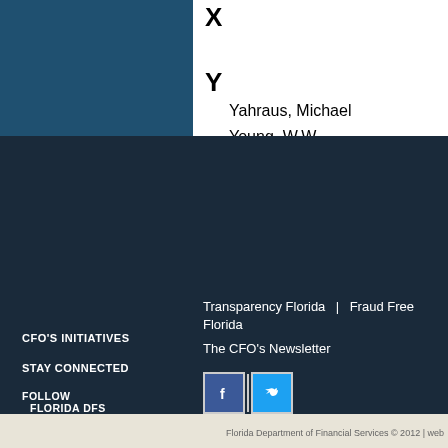X
Y
Yahraus, Michael
Young, W.W.
Z
Ziegler, William.
CFO'S INITIATIVES | Transparency Florida | Fraud Free Florida | STAY CONNECTED | The CFO's Newsletter | FOLLOW FLORIDA DFS | Florida Department of Financial Services © 2012 | web